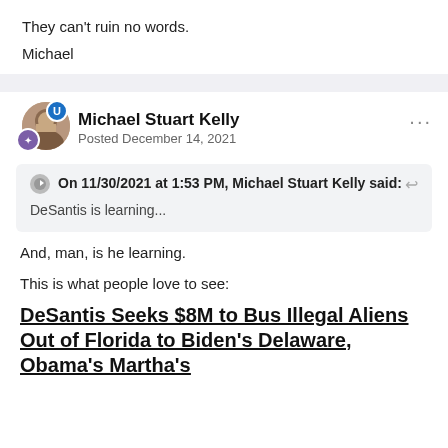They can't ruin no words.
Michael
Michael Stuart Kelly
Posted December 14, 2021
On 11/30/2021 at 1:53 PM, Michael Stuart Kelly said:
DeSantis is learning...
And, man, is he learning.
This is what people love to see:
DeSantis Seeks $8M to Bus Illegal Aliens Out of Florida to Biden's Delaware, Obama's Martha's